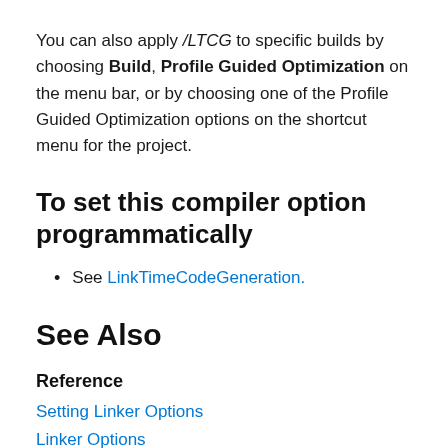You can also apply /LTCG to specific builds by choosing Build, Profile Guided Optimization on the menu bar, or by choosing one of the Profile Guided Optimization options on the shortcut menu for the project.
To set this compiler option programmatically
See LinkTimeCodeGeneration.
See Also
Reference
Setting Linker Options
Linker Options